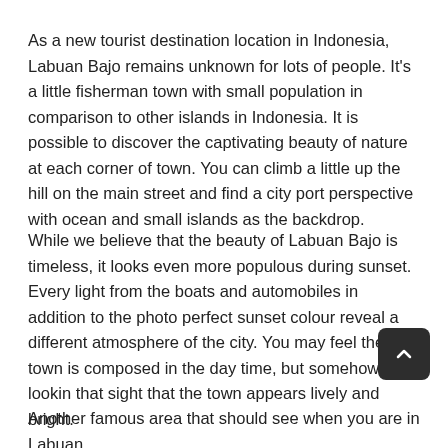As a new tourist destination location in Indonesia, Labuan Bajo remains unknown for lots of people. It's a little fisherman town with small population in comparison to other islands in Indonesia. It is possible to discover the captivating beauty of nature at each corner of town. You can climb a little up the hill on the main street and find a city port perspective with ocean and small islands as the backdrop.
While we believe that the beauty of Labuan Bajo is timeless, it looks even more populous during sunset. Every light from the boats and automobiles in addition to the photo perfect sunset colour reveal a different atmosphere of the city. You may feel the town is composed in the day time, but somehow lookin that sight that the town appears lively and bright.
Another famous area that should see when you are in Labuan